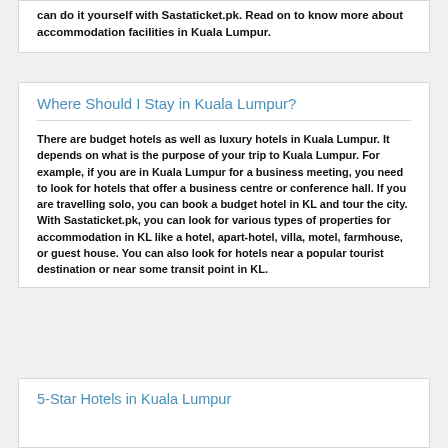can do it yourself with Sastaticket.pk. Read on to know more about accommodation facilities in Kuala Lumpur.
Where Should I Stay in Kuala Lumpur?
There are budget hotels as well as luxury hotels in Kuala Lumpur. It depends on what is the purpose of your trip to Kuala Lumpur. For example, if you are in Kuala Lumpur for a business meeting, you need to look for hotels that offer a business centre or conference hall. If you are travelling solo, you can book a budget hotel in KL and tour the city. With Sastaticket.pk, you can look for various types of properties for accommodation in KL like a hotel, apart-hotel, villa, motel, farmhouse, or guest house. You can also look for hotels near a popular tourist destination or near some transit point in KL.
5-Star Hotels in Kuala Lumpur